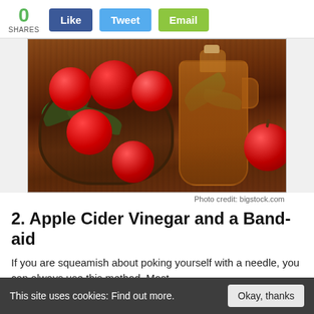0 SHARES | Like | Tweet | Email
[Figure (photo): Apples in a basket with apple cider vinegar bottle on a wooden table]
Photo credit: bigstock.com
2.  Apple Cider Vinegar and a Band-aid
If you are squeamish about poking yourself with a needle, you can always use this method. Most
This site uses cookies: Find out more. | Okay, thanks